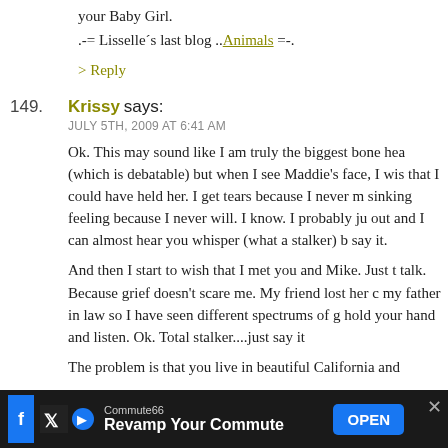your Baby Girl.
.-= Lisselle´s last blog ..Animals =-.
> Reply
149. Krissy says:
JULY 5TH, 2009 AT 6:41 AM
Ok. This may sound like I am truly the biggest bone hea... (which is debatable) but when I see Maddie's face, I wis... that I could have held her. I get tears because I never m... sinking feeling because I never will. I know. I probably ju... out and I can almost hear you whisper (what a stalker) b... say it.

And then I start to wish that I met you and Mike. Just t... talk. Because grief doesn't scare me. My friend lost her c... my father in law so I have seen different spectrums of g... hold your hand and listen. Ok. Total stalker....just say it

The problem is that you live in beautiful California and ...
Commute66
Revamp Your Commute
OPEN